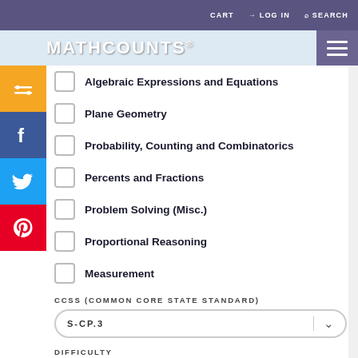CART   LOG IN   SEARCH
MATHCOUNTS
Algebraic Expressions and Equations
Plane Geometry
Probability, Counting and Combinatorics
Percents and Fractions
Problem Solving (Misc.)
Proportional Reasoning
Measurement
CCSS (COMMON CORE STATE STANDARD)
S-CP.3
DIFFICULTY
Difficult
Medium
Easy